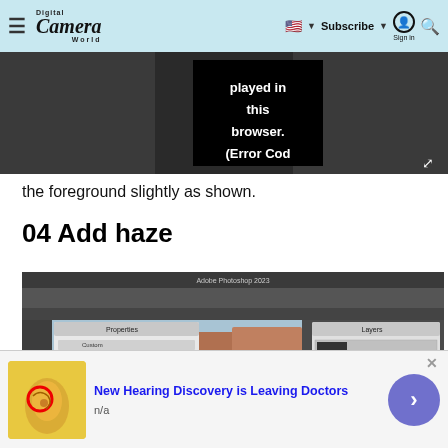Digital Camera World — navigation bar with hamburger menu, logo, US flag, Subscribe, Sign in, Search
[Figure (screenshot): Video player showing error message: 'played in this browser. (Error Cod' on black background with expand icon]
the foreground slightly as shown.
04 Add haze
[Figure (screenshot): Adobe Photoshop 2023 screenshot showing image of desert canyon/rock formations (Wadi Rum style) with Curves adjustment panel open showing histogram, and Layers panel visible on right side]
[Figure (infographic): Advertisement banner: anatomical ear illustration with red circle highlight, text 'New Hearing Discovery is Leaving Doctors', subtext 'n/a', purple circular button with right arrow, close button]